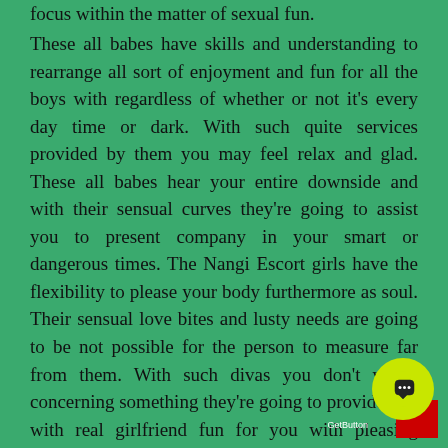focus within the matter of sexual fun.
These all babes have skills and understanding to rearrange all sort of enjoyment and fun for all the boys with regardless of whether or not it's every day time or dark. With such quite services provided by them you may feel relax and glad. These all babes hear your entire downside and with their sensual curves they're going to assist you to present company in your smart or dangerous times. The Nangi Escort girls have the flexibility to please your body furthermore as soul. Their sensual love bites and lusty needs are going to be not possible for the person to measure far from them. With such divas you don't worry concerning something they're going to provide you with real girlfriend fun for you with pleasing satisfaction. Even though you're back or ne'er gone on a date with anyone these divas can give you an honest category services that each man deserves in his life.